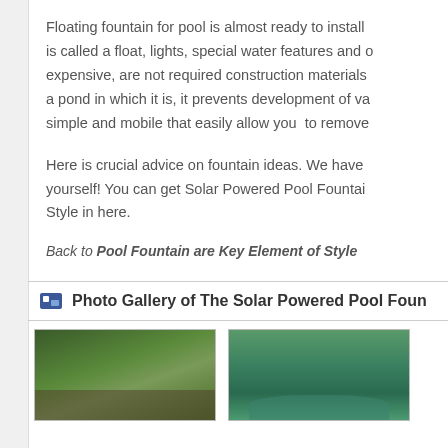Floating fountain for pool is almost ready to install is called a float, lights, special water features and other expensive, are not required construction materials a pond in which it is, it prevents development of va simple and mobile that easily allow you to remove
Here is crucial advice on fountain ideas. We have yourself! You can get Solar Powered Pool Fountain Style in here.
Back to Pool Fountain are Key Element of Style
Photo Gallery of The Solar Powered Pool Foun
[Figure (photo): Photo thumbnail showing tropical plants/leaves near water feature]
[Figure (photo): Photo thumbnail showing a swimming pool with fountain surrounded by green lawn and trees]